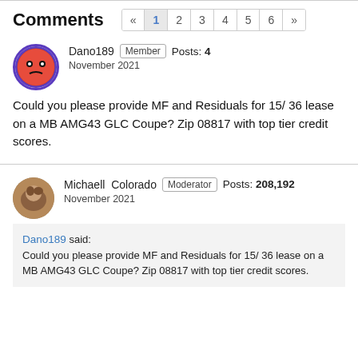Comments
Dano189  Member  Posts: 4
November 2021
Could you please provide MF and Residuals for 15/ 36 lease on a MB AMG43 GLC Coupe? Zip 08817 with top tier credit scores.
Michaell Colorado  Moderator  Posts: 208,192
November 2021
Dano189 said:
Could you please provide MF and Residuals for 15/ 36 lease on a MB AMG43 GLC Coupe? Zip 08817 with top tier credit scores.